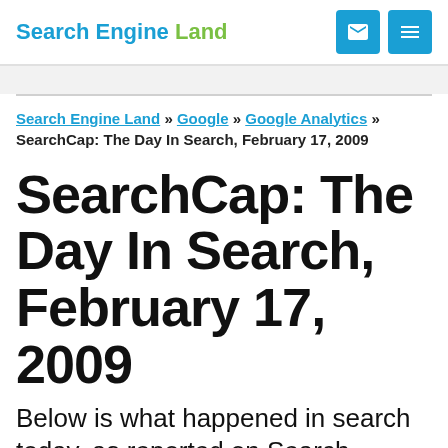Search Engine Land
Search Engine Land » Google » Google Analytics » SearchCap: The Day In Search, February 17, 2009
SearchCap: The Day In Search, February 17, 2009
Below is what happened in search today, as reported on Search Engine Land and from other places across the web. From